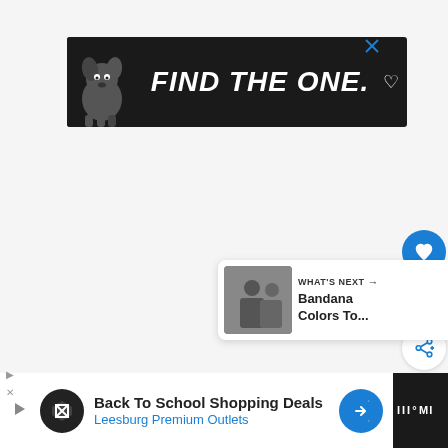[Figure (advertisement): Dark banner ad with a dog illustration and bold italic text 'FIND THE ONE.' with a small heart icon]
[Figure (infographic): Right sidebar UI: heart/like button (blue circle), count '1', and share button (white circle with share icon)]
[Figure (infographic): 'WHAT'S NEXT' panel with thumbnail and text 'Bandana Colors To...']
[Figure (advertisement): Bottom bar ad: 'Back To School Shopping Deals' / 'Leesburg Premium Outlets' with logo, navigation arrow, and right-side branding]